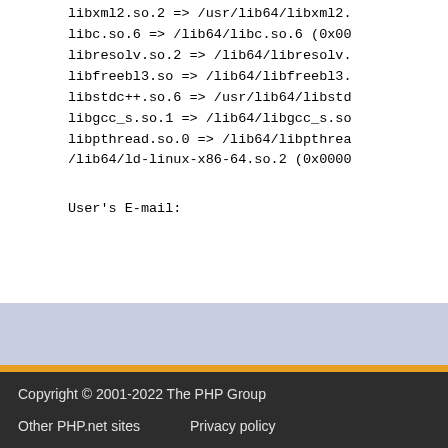libxml2.so.2 => /usr/lib64/libxml2.
libc.so.6 => /lib64/libc.so.6 (0x00
libresolv.so.2 => /lib64/libresolv.
libfreebl3.so => /lib64/libfreebl3.
libstdc++.so.6 => /usr/lib64/libstd
libgcc_s.so.1 => /lib64/libgcc_s.so
libpthread.so.0 => /lib64/libpthrea
/lib64/ld-linux-x86-64.so.2 (0x0000
User's E-mail:
Copyright © 2001-2022 The PHP Group
Other PHP.net sites   Privacy policy